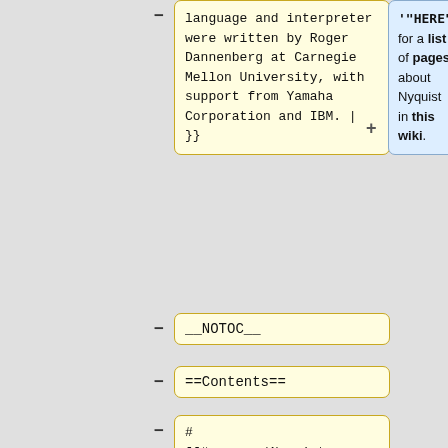language and interpreter were written by Roger Dannenberg at Carnegie Mellon University, with support from Yamaha Corporation and IBM. | }}
'"HERE"]] for a list of pages about Nyquist in this wiki.
__NOTOC__
==Contents==
# [[#program|Nyquist Programming]]
#[[#docs|Nyquist Documentation]]
#[[#ref|Nyquist Plug-ins Reference]]
#